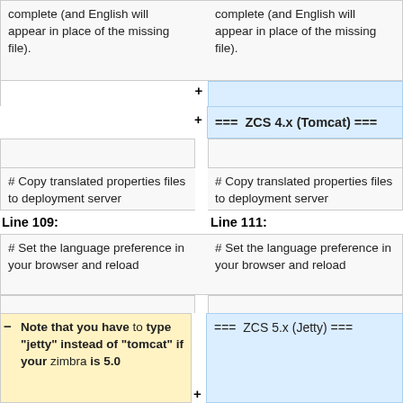complete (and English will appear in place of the missing file).
complete (and English will appear in place of the missing file).
+
+=== ZCS 4.x (Tomcat) ===
# Copy translated properties files to deployment server
# Copy translated properties files to deployment server
Line 109:
Line 111:
# Set the language preference in your browser and reload
# Set the language preference in your browser and reload
Note that you have to type "jetty" instead of "tomcat" if your zimbra is 5.0
=== ZCS 5.x (Jetty) ===
-
+